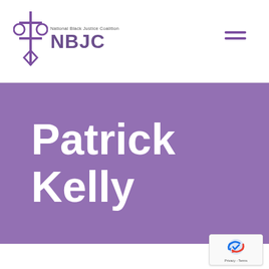National Black Justice Coalition NBJC
Patrick Kelly
[Figure (logo): reCAPTCHA badge with Google logo and Privacy/Terms links]